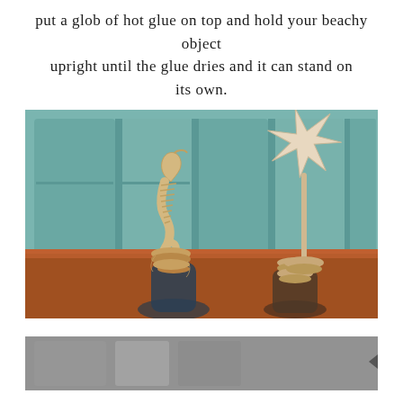put a glob of hot glue on top and hold your beachy object upright until the glue dries and it can stand on its own.
[Figure (photo): Photo of two small decorative bottles with twine wrapped around their tops. One bottle is topped with a seahorse figurine, the other with a starfish. Bottles sit on a wooden table with a teal/blue cabinet in the background.]
[Figure (photo): Partial view of another photo at the bottom of the page, partially cropped.]